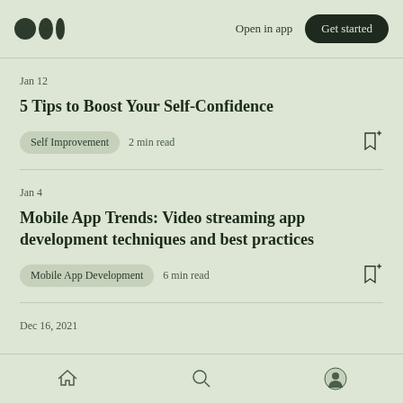Medium logo | Open in app | Get started
Jan 12
5 Tips to Boost Your Self-Confidence
Self Improvement  2 min read
Jan 4
Mobile App Trends: Video streaming app development techniques and best practices
Mobile App Development  6 min read
Dec 16, 2021
Home | Search | Profile